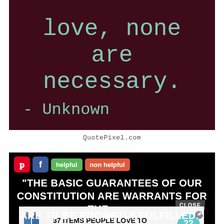[Figure (illustration): Dark maroon background quote card showing text 'love, none are necessary.' and '- Unknown' in teal/mint monospace font]
QuotePixel.com
[Figure (screenshot): Black background section with social buttons (Pinterest, Facebook, 'helpful', 'non helpful'), large white bold text reading '"THE BASIC GUARANTEES OF OUR CONSTITUTION ARE WARRANTS FOR THE HERE' and 'ARE TO BE PROMPTLY FULFILLED."', overlaid with an ad for '37 ITEMS PEOPLE LOVE TO PURCHASE ON AMAZON' with a CLOSE button]